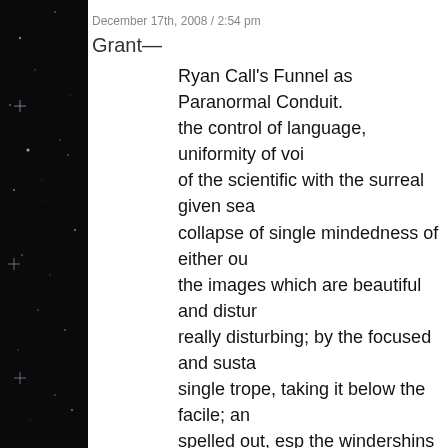December 17th, 2008 / 2:54 pm
Grant—
Ryan Call's Funnel as Paranormal Conduit. the control of language, uniformity of voi of the scientific with the surreal given sea collapse of single mindedness of either ou the images which are beautiful and distur really disturbing; by the focused and susta single trope, taking it below the facile; an spelled out, esp the windershins nature of
December 17th, 2008 / 8:17 pm
Ken Baumann—
'Funnel as Paranormal Conduit' got me pre
I'm not lying.
I had the baby, I'm a single father now, TH